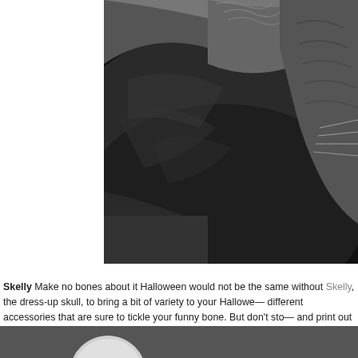[Figure (photo): Black and white photograph of a cat resting on a dark leather couch/sofa, viewed from above. The cat appears to be a tabby, visible on the right side of the image with whiskers and striped fur. The sofa takes up most of the frame.]
Skelly Make no bones about it Halloween would not be the same without Skelly, the dress-up skull, to bring a bit of variety to your Halloween different accessories that are sure to tickle your funny bone. But don't sto and print out a collection of skull beads to wear in true headhunter style.
[Figure (photo): Bottom strip showing a partial circular skull or white round object against a dark grey background.]